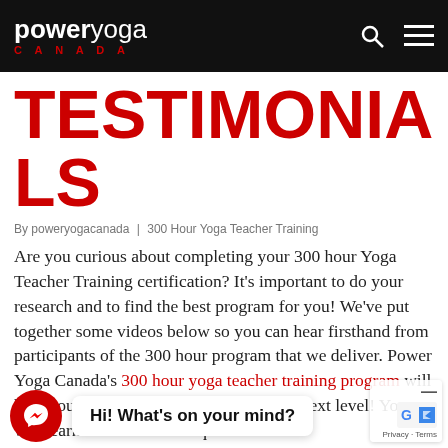power yoga CANADA
TESTIMONIALS
By poweryogacanada | 300 Hour Yoga Teacher Training
Are you curious about completing your 300 hour Yoga Teacher Training certification? It’s important to do your research and to find the best program for you! We’ve put together some videos below so you can hear firsthand from participants of the 300 hour program that we deliver. Power Yoga Canada’s 300 hour yoga teacher training program will help you take your Yoga Teaching to the next level! You will learn advanced techniques the build on the foundation you already have with your 200 hour Yoga Teacher certification.